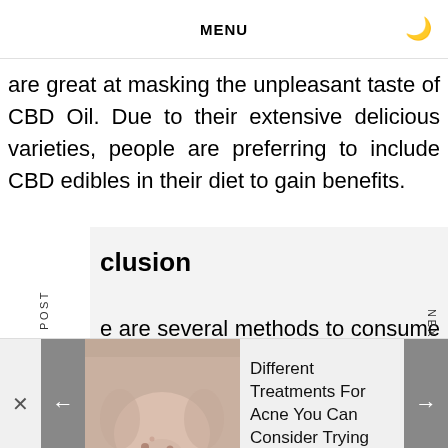MENU
are great at masking the unpleasant taste of CBD Oil. Due to their extensive delicious varieties, people are preferring to include CBD edibles in their diet to gain benefits.
clusion
e are several methods to consume CBD. W cting between products, you must find a sup ity product that is enjoyable and assist
PREVIOUS POST
NEXT POST
Different Treatments For Acne You Can Consider Trying